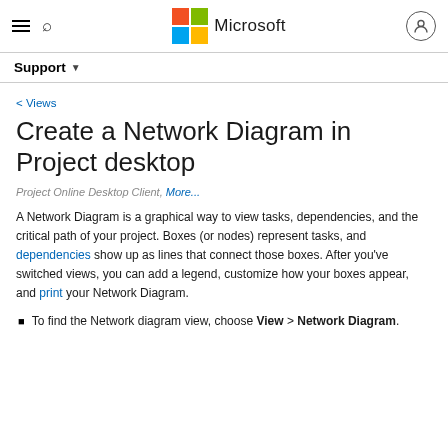Microsoft Support
< Views
Create a Network Diagram in Project desktop
Project Online Desktop Client, More...
A Network Diagram is a graphical way to view tasks, dependencies, and the critical path of your project. Boxes (or nodes) represent tasks, and dependencies show up as lines that connect those boxes. After you've switched views, you can add a legend, customize how your boxes appear, and print your Network Diagram.
To find the Network diagram view, choose View > Network Diagram.